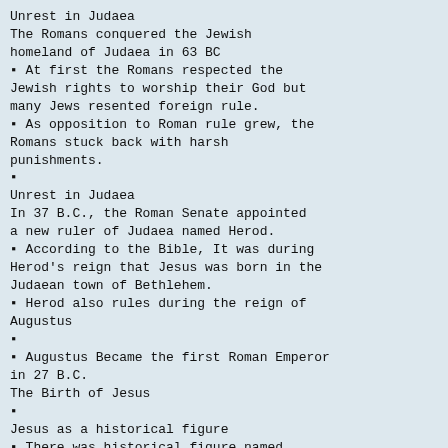Unrest in Judaea
The Romans conquered the Jewish homeland of Judaea in 63 BC
▪ At first the Romans respected the Jewish rights to worship their God but many Jews resented foreign rule.
▪ As opposition to Roman rule grew, the Romans stuck back with harsh punishments.
▪
Unrest in Judaea
In 37 B.C., the Roman Senate appointed a new ruler of Judaea named Herod.
▪ According to the Bible, It was during Herod's reign that Jesus was born in the Judaean town of Bethlehem.
▪ Herod also rules during the reign of Augustus
▪
▪ Augustus Became the first Roman Emperor in 27 B.C.
The Birth of Jesus
▪
Jesus as a historical figure
▪ There was historical figure named Jesus
▪
▪
Between the years of 1 A.D. and 7 A.D. Jesus is Born We have a date range because according to Christianity, Jesus was a...